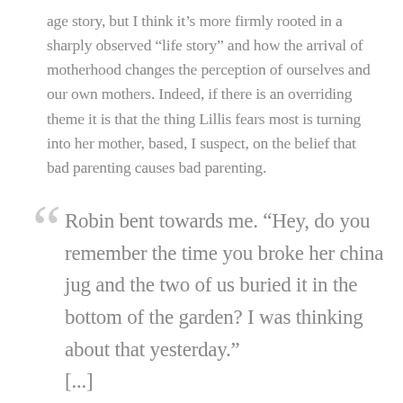age story, but I think it’s more firmly rooted in a sharply observed “life story” and how the arrival of motherhood changes the perception of ourselves and our own mothers. Indeed, if there is an overriding theme it is that the thing Lillis fears most is turning into her mother, based, I suspect, on the belief that bad parenting causes bad parenting.
Robin bent towards me. “Hey, do you remember the time you broke her china jug and the two of us buried it in the bottom of the garden? I was thinking about that yesterday.”
[...]
“God, I’d kind of forgotten about that